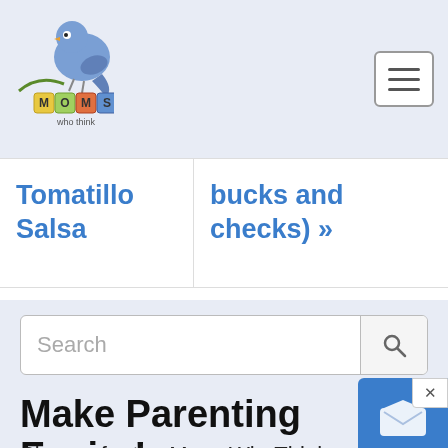[Figure (logo): Moms Who Think logo with a blue cartoon bird sitting on letter blocks spelling MOMS, with 'who think' text below]
Tomatillo Salsa
bucks and checks) »
Search
Make Parenting Easier!
Sign up for the MomsWhoThink.com weekly newsletter, and you'll get access to family friendly recipes, fun and simple crafts, expert parenting advice, freebies,